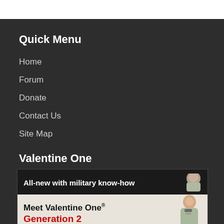Quick Menu
Home
Forum
Donate
Contact Us
Site Map
Valentine One
[Figure (photo): Advertisement banner for Valentine One Generation 2 radar detector. Dark top bar reads 'All-new with military know-how'. Lower section on light background shows 'Meet Valentine One® Generation 2' with a smiling older man holding a device.]